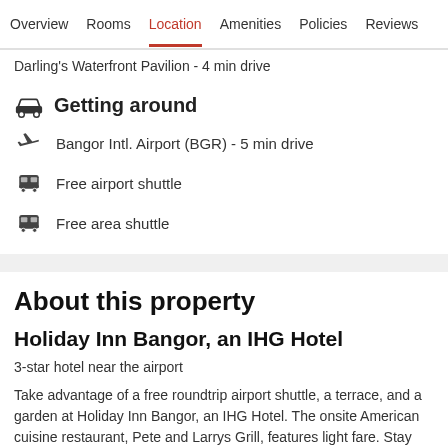Overview  Rooms  Location  Amenities  Policies  Reviews
Darling's Waterfront Pavilion - 4 min drive
Getting around
Bangor Intl. Airport (BGR) - 5 min drive
Free airport shuttle
Free area shuttle
About this property
Holiday Inn Bangor, an IHG Hotel
3-star hotel near the airport
Take advantage of a free roundtrip airport shuttle, a terrace, and a garden at Holiday Inn Bangor, an IHG Hotel. The onsite American cuisine restaurant, Pete and Larrys Grill, features light fare. Stay